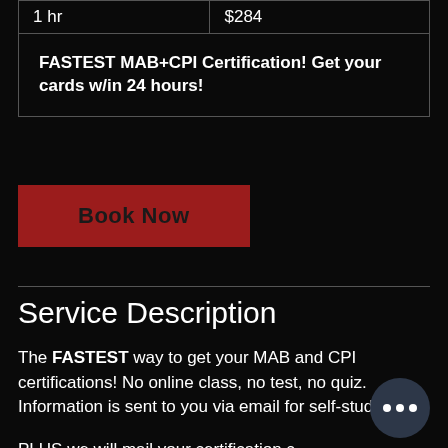| 1 hr | $284 |
| FASTEST MAB+CPI Certification! Get your cards w/in 24 hours! |
Book Now
Service Description
The FASTEST way to get your MAB and CPI certifications! No online class, no test, no quiz. Information is sent to you via email for self-study.
PLUS we will mail your certification c... via USPS Priority Mail and provide a... tracking number!